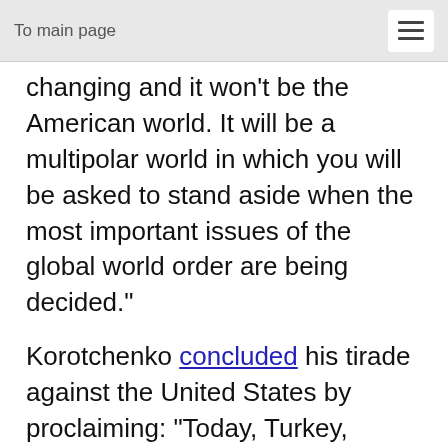To main page
changing and it won’t be the American world. It will be a multipolar world in which you will be asked to stand aside when the most important issues of the global world order are being decided.”
Korotchenko concluded his tirade against the United States by proclaiming: “Today, Turkey, Russia and Iran are jointly working in Syria… from where you've been asked to get out.  Tomorrow, you'll get out of Iraq and then you'll get out of everywhere else, because no one else places their hopes in